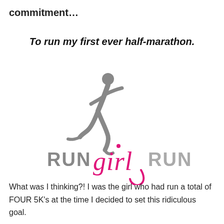commitment…
To run my first ever half-marathon.
[Figure (logo): RUNgirlRUN logo: a gray silhouette of a running woman above the text 'RUN' in gray, 'girl' in pink cursive, 'RUN' in gray.]
What was I thinking?!  I was the girl who had run a total of FOUR 5K's at the time I decided to set this ridiculous goal.